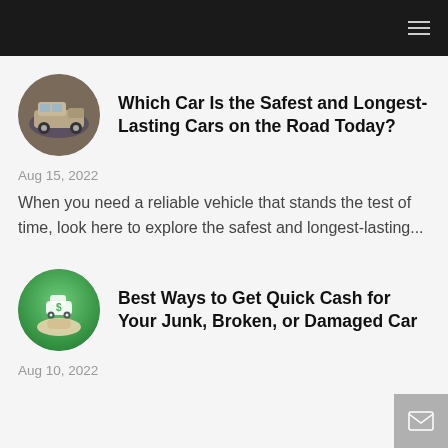Navigation bar with hamburger menu
Which Car Is the Safest and Longest-Lasting Cars on the Road Today?
Aug 15, 2022
When you need a reliable vehicle that stands the test of time, look here to explore the safest and longest-lasting...
Best Ways to Get Quick Cash for Your Junk, Broken, or Damaged Car
Aug 10, 2022